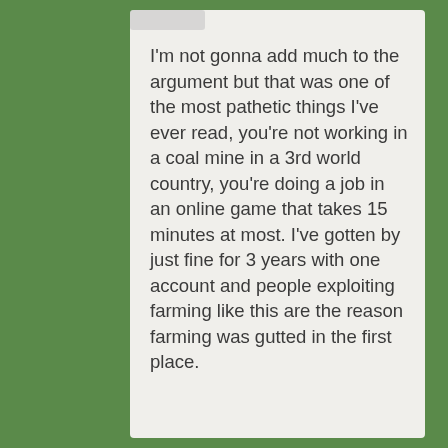I'm not gonna add much to the argument but that was one of the most pathetic things I've ever read, you're not working in a coal mine in a 3rd world country, you're doing a job in an online game that takes 15 minutes at most. I've gotten by just fine for 3 years with one account and people exploiting farming like this are the reason farming was gutted in the first place.